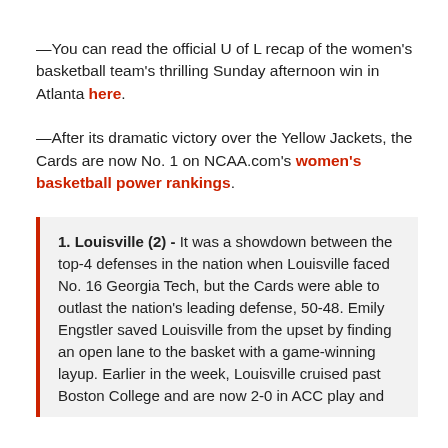—You can read the official U of L recap of the women's basketball team's thrilling Sunday afternoon win in Atlanta here.
—After its dramatic victory over the Yellow Jackets, the Cards are now No. 1 on NCAA.com's women's basketball power rankings.
1. Louisville (2) - It was a showdown between the top-4 defenses in the nation when Louisville faced No. 16 Georgia Tech, but the Cards were able to outlast the nation's leading defense, 50-48. Emily Engstler saved Louisville from the upset by finding an open lane to the basket with a game-winning layup. Earlier in the week, Louisville cruised past Boston College and are now 2-0 in ACC play and